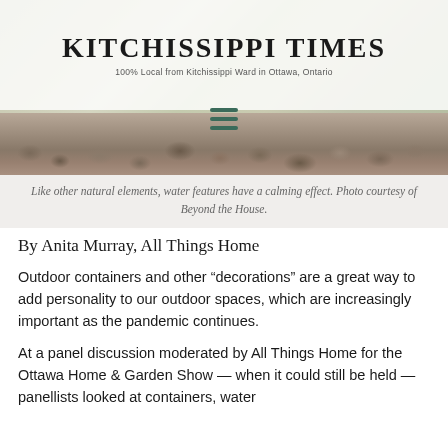KITCHISSIPPI TIMES
100% Local from Kitchissippi Ward in Ottawa, Ontario
[Figure (photo): Garden scene with rocks, gravel, and green plants/ferns in the background. A rocky ground covering with various sized stones is visible at the bottom of the image.]
Like other natural elements, water features have a calming effect. Photo courtesy of Beyond the House.
By Anita Murray, All Things Home
Outdoor containers and other “decorations” are a great way to add personality to our outdoor spaces, which are increasingly important as the pandemic continues.
At a panel discussion moderated by All Things Home for the Ottawa Home & Garden Show — when it could still be held — panellists looked at containers, water